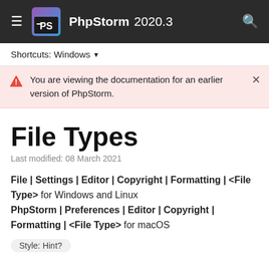PhpStorm 2020.3
Shortcuts: Windows
You are viewing the documentation for an earlier version of PhpStorm.
File Types
Last modified: 08 March 2021
File | Settings | Editor | Copyright | Formatting | <File Type> for Windows and Linux
PhpStorm | Preferences | Editor | Copyright | Formatting | <File Type> for macOS
Style: Hint?